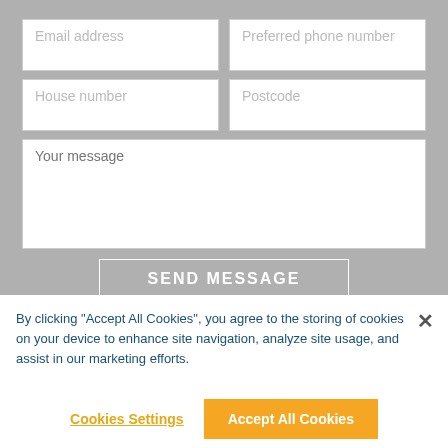[Figure (screenshot): Contact form with fields: Email address, Preferred phone number, House number, Postcode, Your message textarea, and SEND MESSAGE button, on a grey background]
By clicking “Accept All Cookies”, you agree to the storing of cookies on your device to enhance site navigation, analyze site usage, and assist in our marketing efforts.
Cookies Settings
Accept All Cookies